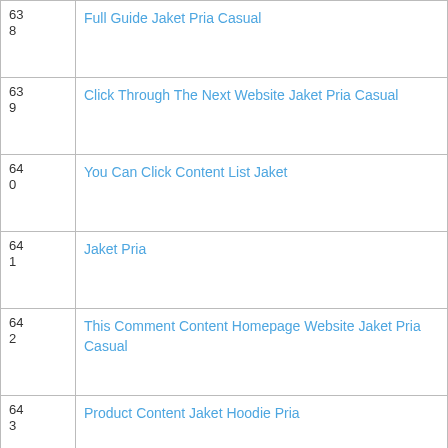| # | Link |
| --- | --- |
| 63
8 | Full Guide Jaket Pria Casual |
| 63
9 | Click Through The Next Website Jaket Pria Casual |
| 64
0 | You Can Click Content List Jaket |
| 64
1 | Jaket Pria |
| 64
2 | This Comment Content Homepage Website Jaket Pria Casual |
| 64
3 | Product Content Jaket Hoodie Pria |
| 64
4 | View Website Jaket Jeans Pria Distro |
| 64
5 | Via Jaket Pria Casual |
| 64
6 | Jaket Pria |